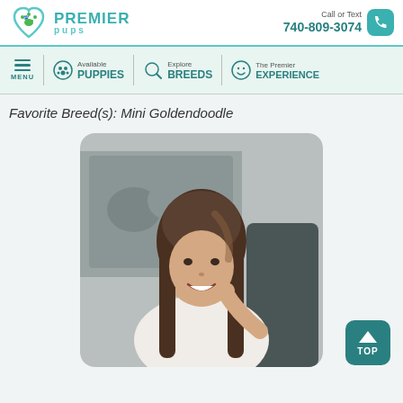Premier Pups | Call or Text 740-809-3074
Available PUPPIES | Explore BREEDS | The Premier EXPERIENCE
Favorite Breed(s): Mini Goldendoodle
[Figure (photo): Young woman with long brown hair smiling, talking on a phone, seated at a desk with a black-and-white puppy photo in background]